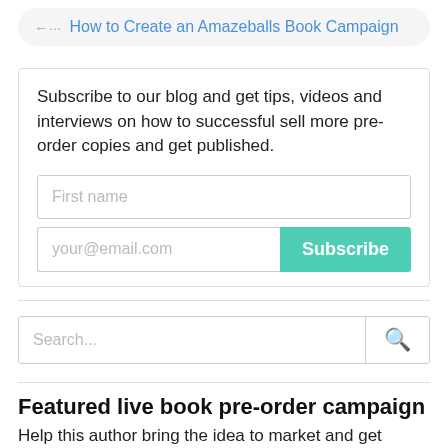← How to Create an Amazeballs Book Campaign
Subscribe to our blog and get tips, videos and interviews on how to successful sell more pre-order copies and get published.
First name
your@email.com
Subscribe
Search...
Featured live book pre-order campaign
Help this author bring the idea to market and get special bonuses.